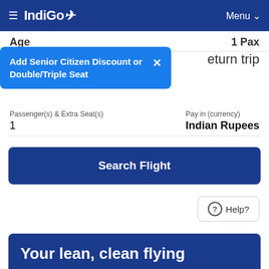IndiGo — Menu
Age / Pax
Departure Date
[Figure (screenshot): Tooltip popup: Add Senior Citizen Discount or Double/Triple Seat with close X button]
return trip
Passenger(s) & Extra Seat(s): 1
Pay in (currency): Indian Rupees
Search Flight
Help?
Your lean, clean flying